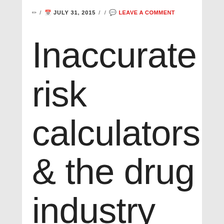✏ / 📅 JULY 31, 2015 / / 💬 LEAVE A COMMENT
Inaccurate risk calculators & the drug industry